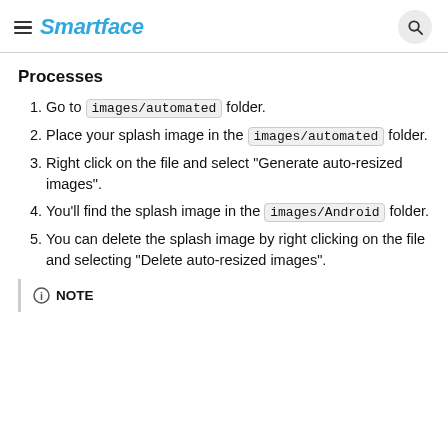Smartface
Processes
Go to images/automated folder.
Place your splash image in the images/automated folder.
Right click on the file and select "Generate auto-resized images".
You'll find the splash image in the images/Android folder.
You can delete the splash image by right clicking on the file and selecting "Delete auto-resized images".
NOTE